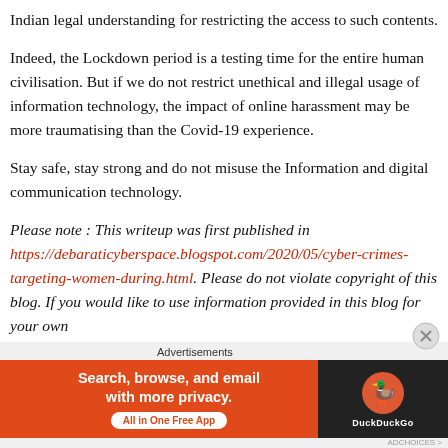Indian legal understanding for restricting the access to such contents.
Indeed, the Lockdown period is a testing time for the entire human civilisation. But if we do not restrict unethical and illegal usage of information technology, the impact of online harassment may be more traumatising than the Covid-19 experience.
Stay safe, stay strong and do not misuse the Information and digital communication technology.
Please note : This writeup was first published in https://debaraticyberspace.blogspot.com/2020/05/cyber-crimes-targeting-women-during.html. Please do not violate copyright of this blog. If you would like to use information provided in this blog for your own
Advertisements
[Figure (other): DuckDuckGo advertisement banner with orange background. Text: Search, browse, and email with more privacy. All in One Free App. DuckDuckGo logo on dark background.]